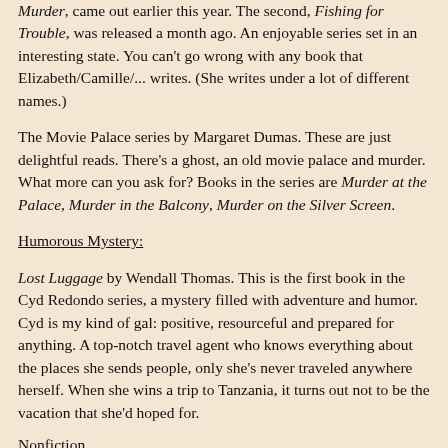Murder, came out earlier this year. The second, Fishing for Trouble, was released a month ago. An enjoyable series set in an interesting state. You can't go wrong with any book that Elizabeth/Camille/... writes. (She writes under a lot of different names.)
The Movie Palace series by Margaret Dumas. These are just delightful reads. There's a ghost, an old movie palace and murder. What more can you ask for? Books in the series are Murder at the Palace, Murder in the Balcony, Murder on the Silver Screen.
Humorous Mystery:
Lost Luggage by Wendall Thomas. This is the first book in the Cyd Redondo series, a mystery filled with adventure and humor. Cyd is my kind of gal: positive, resourceful and prepared for anything. A top-notch travel agent who knows everything about the places she sends people, only she's never traveled anywhere herself. When she wins a trip to Tanzania, it turns out not to be the vacation that she'd hoped for.
Nonfiction